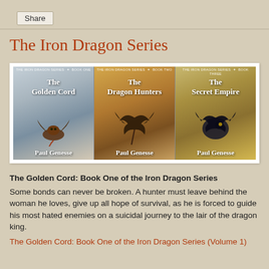Share
The Iron Dragon Series
[Figure (illustration): Three book covers side by side for The Iron Dragon Series by Paul Genesse: The Golden Cord (Book One), The Dragon Hunters (Book Two), and The Secret Empire (Book Three), each featuring dragon artwork.]
The Golden Cord: Book One of the Iron Dragon Series
Some bonds can never be broken. A hunter must leave behind the woman he loves, give up all hope of survival, as he is forced to guide his most hated enemies on a suicidal journey to the lair of the dragon king.
The Golden Cord: Book One of the Iron Dragon Series (Volume 1)